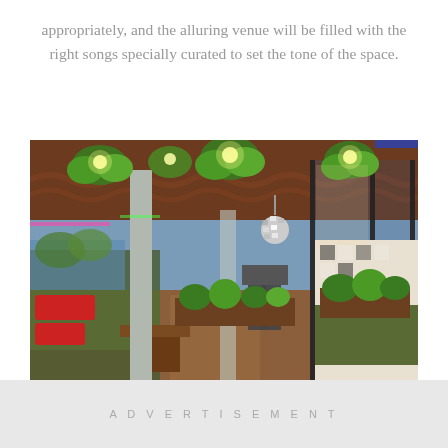appropriately, and the alluring venue will be filled with the right songs specially curated to set the tone of the space.
[Figure (photo): Interior of a trendy restaurant or lounge bar with tropical decor: hanging plants, warm lighting, wooden seating with green upholstery and red cushions, disco ball, panoramic glass windows, patterned wall tiles, and a central aisle with wooden flooring.]
ADVERTISEMENT